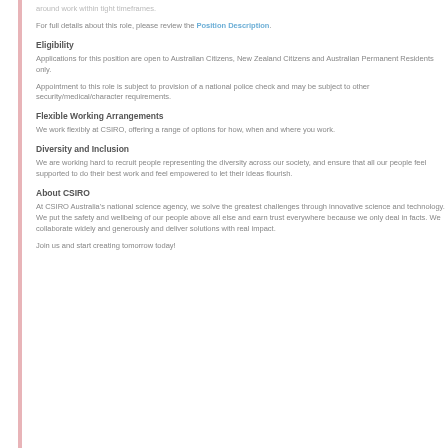around work within tight timeframes.
For full details about this role, please review the Position Description.
Eligibility
Applications for this position are open to Australian Citizens, New Zealand Citizens and Australian Permanent Residents only.
Appointment to this role is subject to provision of a national police check and may be subject to other security/medical/character requirements.
Flexible Working Arrangements
We work flexibly at CSIRO, offering a range of options for how, when and where you work.
Diversity and Inclusion
We are working hard to recruit people representing the diversity across our society, and ensure that all our people feel supported to do their best work and feel empowered to let their ideas flourish.
About CSIRO
At CSIRO Australia's national science agency, we solve the greatest challenges through innovative science and technology. We put the safety and wellbeing of our people above all else and earn trust everywhere because we only deal in facts. We collaborate widely and generously and deliver solutions with real impact.
Join us and start creating tomorrow today!